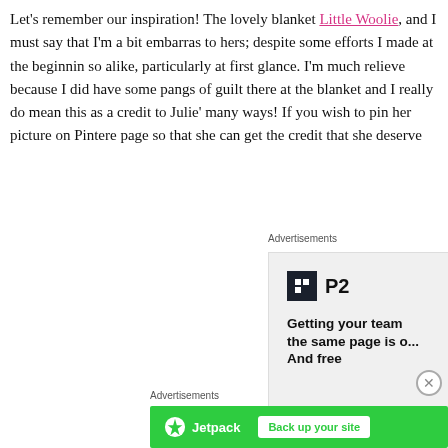Let's remember our inspiration! The lovely blanket Little Woolie, and I must say that I'm a bit embarrassed to hers; despite some efforts I made at the beginning so alike, particularly at first glance. I'm much relieved because I did have some pangs of guilt there at the blanket and I really do mean this as a credit to Julie's many ways! If you wish to pin her picture on Pinterest page so that she can get the credit that she deserves
[Figure (screenshot): Advertisement box on the right side showing P2 logo and text 'Getting your team the same page is o... And free']
[Figure (screenshot): Advertisement banner at the bottom showing Jetpack logo with 'Back up your site' button on green background]